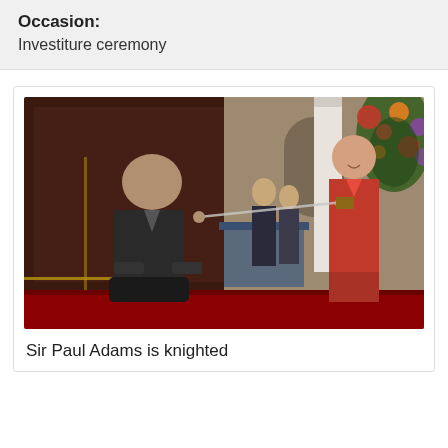Occasion:
Investiture ceremony
[Figure (photo): An investiture ceremony scene: a man in a dark suit kneeling before a woman in a red suit, who holds a sword. Other attendees are visible in the background. The setting appears to be a formal hall with a red carpet, decorative tapestry, white columns, and a large floral arrangement.]
Sir Paul Adams is knighted